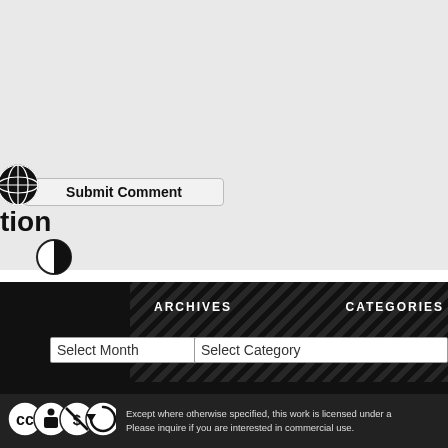[Figure (screenshot): Website UI partial screenshot showing a grey top zone with a 'Submit Comment' button popup, accessibility toolbar icons (globe, contrast, text-size), and a dark navigation bar with ARCHIVES and CATEGORIES dropdowns, and a Creative Commons license bar at the bottom.]
Submit Comment
tion
ARCHIVES
Select Month
CATEGORIES
Select Category
Except where otherwise specified, this work is licensed under a
Please inquire if you are interested in commercial use.